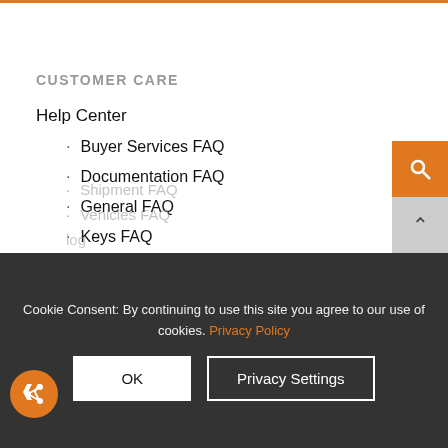CUSTOMER CARE
Help Center
Buyer Services FAQ
Documentation FAQ
General FAQ
Keys FAQ
Payment FAQ
Process FAQ
Shipment FAQ
Vehicles FAQ
log
Cookie Consent: By continuing to use this site you agree to our use of cookies. Privacy Policy
OK
Privacy Settings